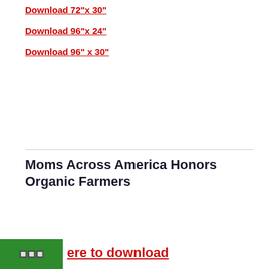Download 72"x 30"
Download 96"x 24"
Download 96" x 30"
Moms Across America Honors Organic Farmers
[Figure (illustration): Moms Across America Honors Organic Farmers banner/sign. Red heart, star logo, text: MOMS ACROSS AMERICA, Empowered Moms Healthy Kids, yellow ribbon: Honors Organic Farmers, Join a CSA! Buy Local, Toxin Free, GMO Free food at Farmer's Markets!, Join us at www.MomsAcrossAmerica.org, blue bar: A NATIONAL COALITION OF UNSTOPPABLE MOMS]
Click here to download